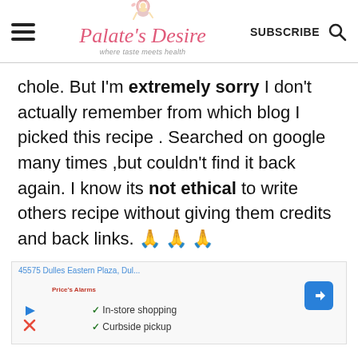Palate's Desire — where taste meets health
chole. But I'm extremely sorry I don't actually remember from which blog I picked this recipe . Searched on google many times ,but couldn't find it back again. I know its not ethical to write others recipe without giving them credits and back links. 🙏🙏🙏
[Figure (screenshot): Advertisement showing a Google Maps listing for 45575 Dulles Eastern Plaza with in-store shopping and curbside pickup options]